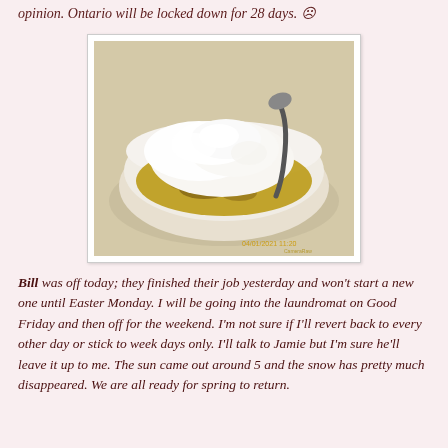opinion. Ontario will be locked down for 28 days. ☹
[Figure (photo): A white ceramic bowl containing a dessert with whipped cream on top and what appears to be fruit cobbler or pudding with a dark spoon resting in it, placed on a light surface. A timestamp reads 04/01/2021 11:20.]
Bill was off today; they finished their job yesterday and won't start a new one until Easter Monday. I will be going into the laundromat on Good Friday and then off for the weekend. I'm not sure if I'll revert back to every other day or stick to week days only. I'll talk to Jamie but I'm sure he'll leave it up to me. The sun came out around 5 and the snow has pretty much disappeared. We are all ready for spring to return.